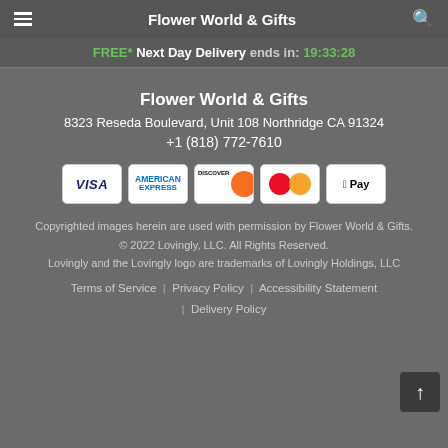Flower World & Gifts
FREE* Next Day Delivery ends in: 19:33:28
Flower World & Gifts
8323 Reseda Boulevard, Unit 108 Northridge CA 91324
+1 (818) 772-7610
[Figure (logo): Payment method icons: Visa, American Express, Discover, Mastercard, Apple Pay]
Copyrighted images herein are used with permission by Flower World & Gifts.
© 2022 Lovingly, LLC. All Rights Reserved.
Lovingly and the Lovingly logo are trademarks of Lovingly Holdings, LLC
Terms of Service | Privacy Policy | Accessibility Statement | Delivery Policy